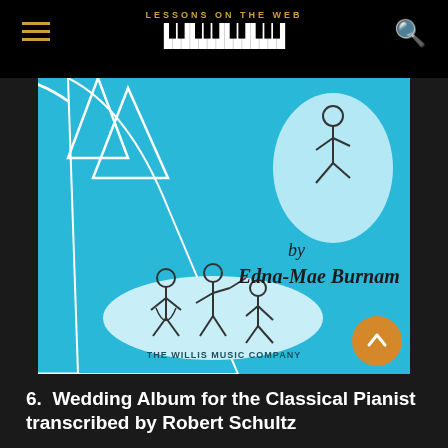LESSONS ON THE WEB
[Figure (illustration): Book cover of a piano lesson book by Edna-Mae Burnam, published by The Willis Music Company. Cyan/turquoise background with white stick figure illustrations of dancing children and a woman in a dress. Text reads 'by Edna-Mae Burnam' and 'THE WILLIS MUSIC COMPANY'.]
6.  Wedding Album for the Classical Pianist transcribed by Robert Schultz